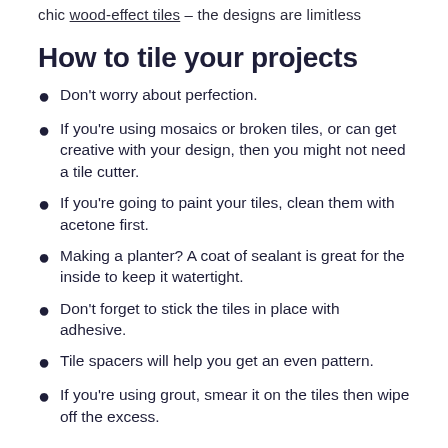chic wood-effect tiles – the designs are limitless
How to tile your projects
Don't worry about perfection.
If you're using mosaics or broken tiles, or can get creative with your design, then you might not need a tile cutter.
If you're going to paint your tiles, clean them with acetone first.
Making a planter? A coat of sealant is great for the inside to keep it watertight.
Don't forget to stick the tiles in place with adhesive.
Tile spacers will help you get an even pattern.
If you're using grout, smear it on the tiles then wipe off the excess.